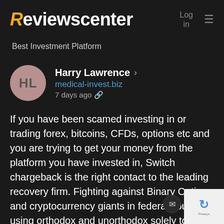Reviewscenter   Log in  ≡
Best Investment Platform
Harry Lawrence > medical-invest.biz 7 days ago
If you have been scamed investing in or trading forex, bitcoins, CFDs, options etc and you are trying to get your money from the platform you have invested in, Switch chargeback is the right contact to the leading recovery firm. Fighting against Binary Options and cryptocurrency giants in federal courts using orthodox and unorthodox solely to be able to help scam